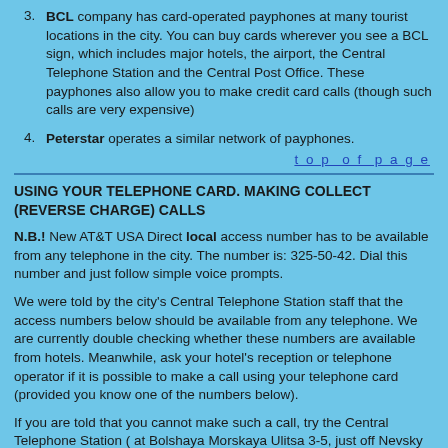3. BCL company has card-operated payphones at many tourist locations in the city. You can buy cards wherever you see a BCL sign, which includes major hotels, the airport, the Central Telephone Station and the Central Post Office. These payphones also allow you to make credit card calls (though such calls are very expensive)
4. Peterstar operates a similar network of payphones.
top of page
USING YOUR TELEPHONE CARD. MAKING COLLECT (REVERSE CHARGE) CALLS
N.B.! New AT&T USA Direct local access number has to be available from any telephone in the city. The number is: 325-50-42. Dial this number and just follow simple voice prompts.
We were told by the city's Central Telephone Station staff that the access numbers below should be available from any telephone. We are currently double checking whether these numbers are available from hotels. Meanwhile, ask your hotel's reception or telephone operator if it is possible to make a call using your telephone card (provided you know one of the numbers below).
If you are told that you cannot make such a call, try the Central Telephone Station ( at Bolshaya Morskaya Ulitsa 3-5, just off Nevsky Propekt). Upon entering the main hall turn left. Tell an operator sitting in one of the two glass booths that you wish to make a call with your telephone card. The operator will then tell you the number of a phone booth, from which you